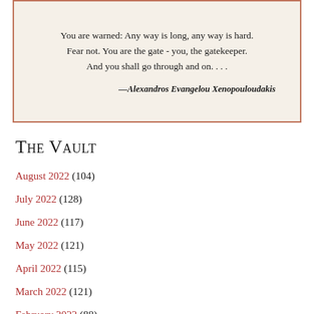[Figure (illustration): A framed quote on aged parchment background with terracotta border. Text reads: 'You are warned: Any way is long, any way is hard. Fear not. You are the gate - you, the gatekeeper. And you shall go through and on. . . .' attributed to Alexandros Evangelou Xenopouloudakis.]
The Vault
August 2022 (104)
July 2022 (128)
June 2022 (117)
May 2022 (121)
April 2022 (115)
March 2022 (121)
February 2022 (88)